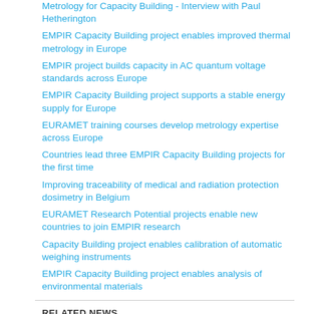Metrology for Capacity Building - Interview with Paul Hetherington
EMPIR Capacity Building project enables improved thermal metrology in Europe
EMPIR project builds capacity in AC quantum voltage standards across Europe
EMPIR Capacity Building project supports a stable energy supply for Europe
EURAMET training courses develop metrology expertise across Europe
Countries lead three EMPIR Capacity Building projects for the first time
Improving traceability of medical and radiation protection dosimetry in Belgium
EURAMET Research Potential projects enable new countries to join EMPIR research
Capacity Building project enables calibration of automatic weighing instruments
EMPIR Capacity Building project enables analysis of environmental materials
RELATED NEWS
New ‘just-before-test’ for immunity and emission testing of electronic devices
A bird’s eye view of how electrons shaped the work of the EMPIR